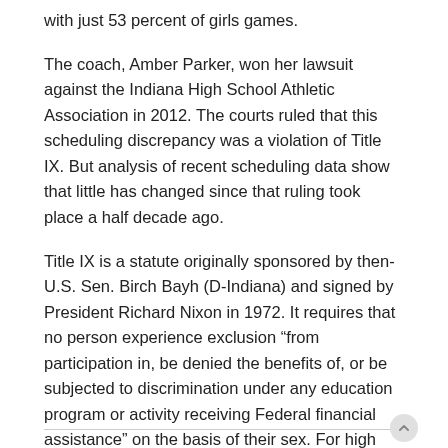with just 53 percent of girls games.
The coach, Amber Parker, won her lawsuit against the Indiana High School Athletic Association in 2012. The courts ruled that this scheduling discrepancy was a violation of Title IX. But analysis of recent scheduling data show that little has changed since that ruling took place a half decade ago.
Title IX is a statute originally sponsored by then-U.S. Sen. Birch Bayh (D-Indiana) and signed by President Richard Nixon in 1972. It requires that no person experience exclusion “from participation in, be denied the benefits of, or be subjected to discrimination under any education program or activity receiving Federal financial assistance” on the basis of their sex. For high school sports, this means that boys teams should not receive more money or resources than girls teams.